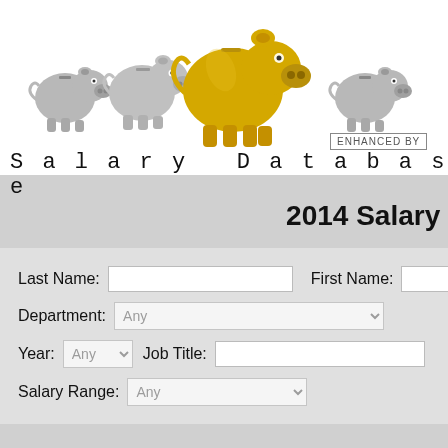[Figure (illustration): Four piggy banks: three silver/grey ones and one large golden piggy bank in the center, arranged in a row against a white background]
Salary Database
ENHANCED BY
2014 Salary
Last Name: [text input]  First Name: [text input]  Department: Any [dropdown]  Year: Any [dropdown]  Job Title: [text input]  Salary Range: Any [dropdown]